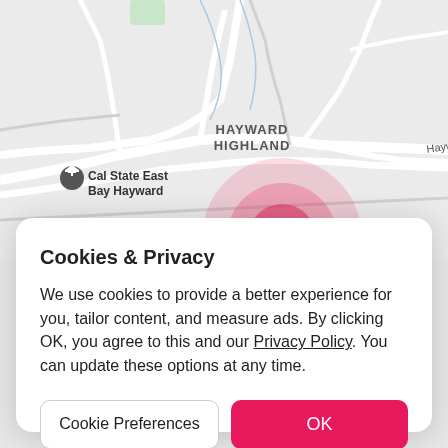[Figure (map): A street map showing Hayward Highland area with Cal State East Bay Hayward marker and Hayward Blvd labeled, with a pink/red circular heat map overlay in the center-lower area of the map.]
Cookies & Privacy
We use cookies to provide a better experience for you, tailor content, and measure ads. By clicking OK, you agree to this and our Privacy Policy. You can update these options at any time.
Cookie Preferences
OK